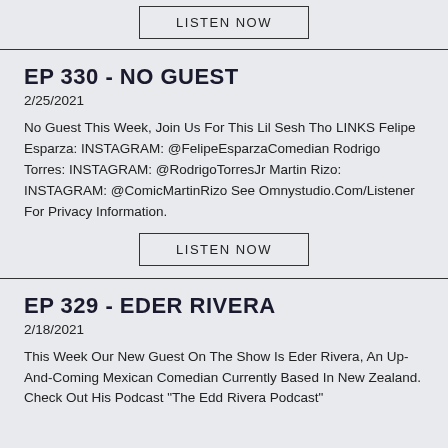LISTEN NOW
EP 330 - NO GUEST
2/25/2021
No Guest This Week, Join Us For This Lil Sesh Tho LINKS Felipe Esparza: INSTAGRAM: @FelipeEsparzaComedian Rodrigo Torres: INSTAGRAM: @RodrigoTorresJr Martin Rizo: INSTAGRAM: @ComicMartinRizo See Omnystudio.Com/Listener For Privacy Information.
LISTEN NOW
EP 329 - EDER RIVERA
2/18/2021
This Week Our New Guest On The Show Is Eder Rivera, An Up-And-Coming Mexican Comedian Currently Based In New Zealand. Check Out His Podcast "The Edd Rivera Podcast"